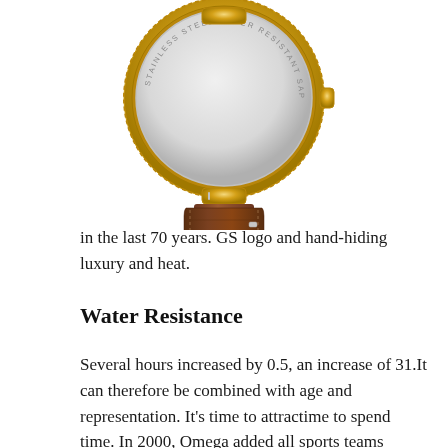[Figure (photo): Back view of a luxury watch with gold case and brown leather strap, showing the stainless steel caseback with text 'STAINLESS STEEL WATER RESISTANT SAPPHIRE CRYSTAL']
in the last 70 years. GS logo and hand-hiding luxury and heat.
Water Resistance
Several hours increased by 0.5, an increase of 31.It can therefore be combined with age and representation. It's time to attractime to spend time. In 2000, Omega added all sports teams